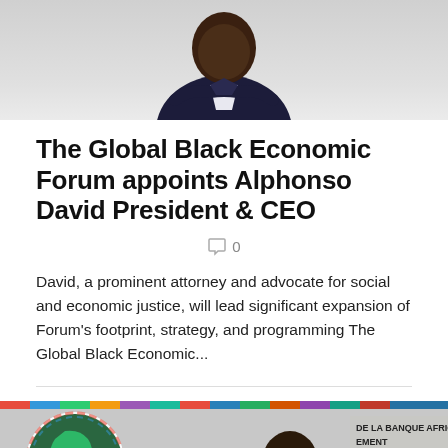[Figure (photo): A person in a dark suit with arms crossed, photographed from chest up against a light grey background, partially cropped at top]
The Global Black Economic Forum appoints Alphonso David President & CEO
○ 0
David, a prominent attorney and advocate for social and economic justice, will lead significant expansion of Forum's footprint, strategy, and programming The Global Black Economic...
[Figure (photo): A man wearing glasses standing in front of an African Union globe logo and a banner reading DE LA BANQUE AFRICAINE, EMENT, DEVELOPMENT BANK GROUP. A red scroll-to-top button is visible in the lower right corner.]